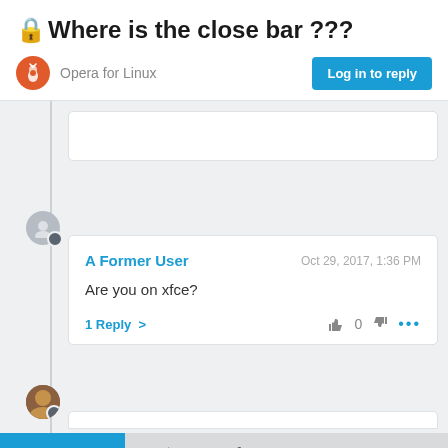🔒Where is the close bar ???
Opera for Linux
Log in to reply
A Former User
Oct 29, 2017, 1:36 PM
Are you on xfce?
1 Reply >
7 out of 19